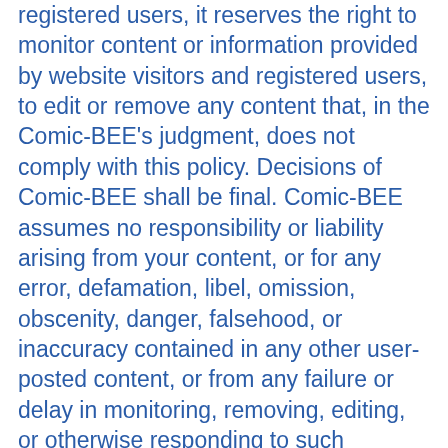registered users, it reserves the right to monitor content or information provided by website visitors and registered users, to edit or remove any content that, in the Comic-BEE's judgment, does not comply with this policy. Decisions of Comic-BEE shall be final. Comic-BEE assumes no responsibility or liability arising from your content, or for any error, defamation, libel, omission, obscenity, danger, falsehood, or inaccuracy contained in any other user-posted content, or from any failure or delay in monitoring, removing, editing, or otherwise responding to such content.
You may not use, or encourage, promote, facilitate or instruct others to use Comic-BEE for any illegal, harmful, fraudulent, infringing or offensive use,